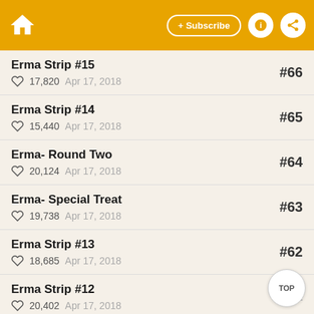Home | + Subscribe | Info | Share
Erma Strip #15 | 17,820 | Apr 17, 2018 | #66
Erma Strip #14 | 15,440 | Apr 17, 2018 | #65
Erma- Round Two | 20,124 | Apr 17, 2018 | #64
Erma- Special Treat | 19,738 | Apr 17, 2018 | #63
Erma Strip #13 | 18,685 | Apr 17, 2018 | #62
Erma Strip #12 | 20,402 | Apr 17, 2018 | #61